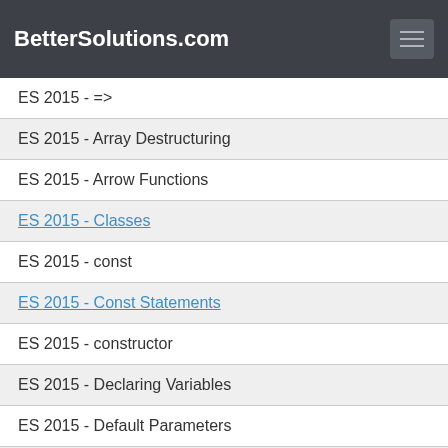BetterSolutions.com
ES 2015 - =>
ES 2015 - Array Destructuring
ES 2015 - Arrow Functions
ES 2015 - Classes
ES 2015 - const
ES 2015 - Const Statements
ES 2015 - constructor
ES 2015 - Declaring Variables
ES 2015 - Default Parameters
ES 2015 - Destructuring
ES 2015 - Fat Arrow